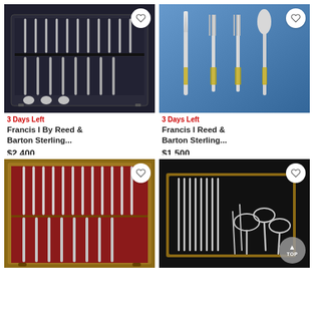[Figure (photo): Sterling silverware set in a dark wooden case with black interior]
3 Days Left
Francis I By Reed & Barton Sterling...
$2,400
[Figure (photo): Four pieces of sterling silver flatware (knife, two forks, spoon) against a blue background]
3 Days Left
Francis I Reed & Barton Sterling...
$1,500
[Figure (photo): Sterling silverware set in a wooden case with red velvet interior]
[Figure (photo): Sterling silverware set in an open wooden case on a dark background]